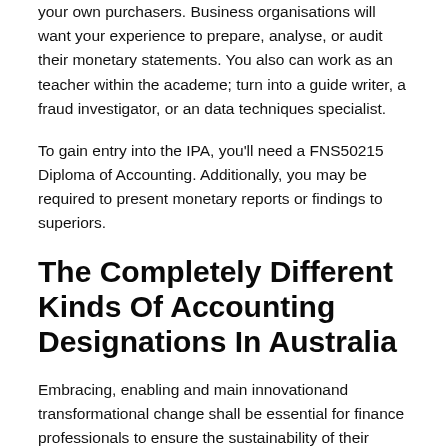your own purchasers. Business organisations will want your experience to prepare, analyse, or audit their monetary statements. You also can work as an teacher within the academe; turn into a guide writer, a fraud investigator, or an data techniques specialist.
To gain entry into the IPA, you'll need a FNS50215 Diploma of Accounting. Additionally, you may be required to present monetary reports or findings to superiors.
The Completely Different Kinds Of Accounting Designations In Australia
Embracing, enabling and main innovationand transformational change shall be essential for finance professionals to ensure the sustainability of their organisations. Now that you simply've got a better grasp of the professionals and cons of an accounting career take the time to evaluate whether or not that is the sphere for you. If the professionals are outweighing the cons, you might want to take a closer look at how to prepare yourself for a job on this subject. The statistics exhibits that employment of accountants is